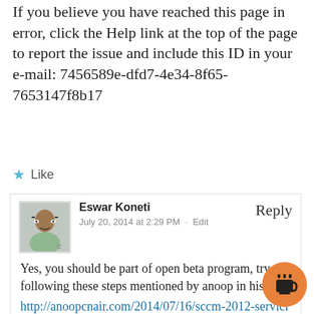If you believe you have reached this page in error, click the Help link at the top of the page to report the issue and include this ID in your e-mail: 7456589e-dfd7-4e34-8f65-7653147f8b17
Like
Eswar Koneti
July 20, 2014 at 2:29 PM · Edit
Reply
Yes, you should be part of open beta program, try following these steps mentioned by anoop in his blog http://anoopcnair.com/2014/07/16/sccm-2012-servicing-extension-beta-internet-connection-requirements-permission/
Like